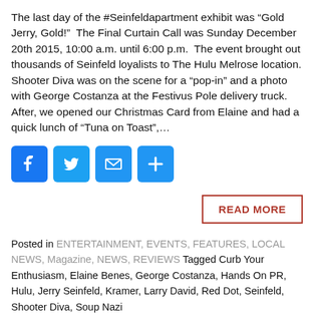The last day of the #Seinfeldapartment exhibit was “Gold Jerry, Gold!”  The Final Curtain Call was Sunday December 20th 2015, 10:00 a.m. until 6:00 p.m.  The event brought out thousands of Seinfeld loyalists to The Hulu Melrose location. Shooter Diva was on the scene for a “pop-in” and a photo with George Costanza at the Festivus Pole delivery truck. After, we opened our Christmas Card from Elaine and had a quick lunch of “Tuna on Toast”,...
[Figure (other): Social share buttons: Facebook, Twitter, Email, More (plus sign)]
READ MORE
Posted in ENTERTAINMENT, EVENTS, FEATURES, LOCAL NEWS, Magazine, NEWS, REVIEWS Tagged Curb Your Enthusiasm, Elaine Benes, George Costanza, Hands On PR, Hulu, Jerry Seinfeld, Kramer, Larry David, Red Dot, Seinfeld, Shooter Diva, Soup Nazi
Lamborghini North Los Angeles Celebrates Monterey Car Week 2015
Posted on August 15, 2015